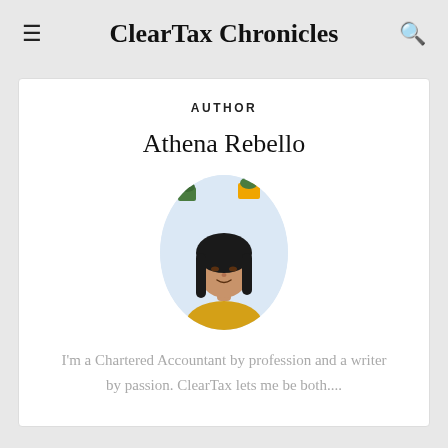ClearTax Chronicles
AUTHOR
Athena Rebello
[Figure (photo): Oval portrait photo of Athena Rebello, a woman with long dark hair wearing a yellow top, with potted plants visible in the background]
I'm a Chartered Accountant by profession and a writer by passion. ClearTax lets me be both....